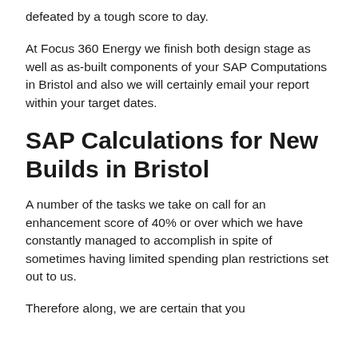defeated by a tough score to day.
At Focus 360 Energy we finish both design stage as well as as-built components of your SAP Computations in Bristol and also we will certainly email your report within your target dates.
SAP Calculations for New Builds in Bristol
A number of the tasks we take on call for an enhancement score of 40% or over which we have constantly managed to accomplish in spite of sometimes having limited spending plan restrictions set out to us.
Therefore along, we are certain that you